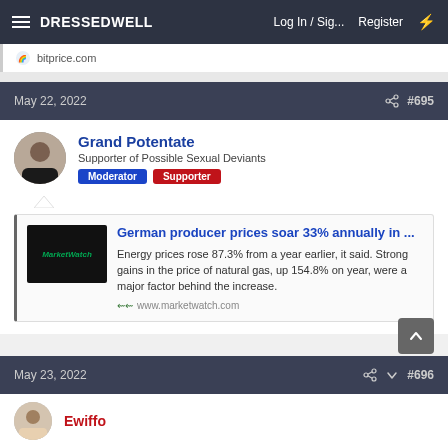DRESSEDWELL   Log In / Sig...   Register
bitprice.com
May 22, 2022   #695
Grand Potentate
Supporter of Possible Sexual Deviants   Moderator   Supporter
German producer prices soar 33% annually in ... Energy prices rose 87.3% from a year earlier, it said. Strong gains in the price of natural gas, up 154.8% on year, were a major factor behind the increase. www.marketwatch.com
May 23, 2022   #696
Ewiffo